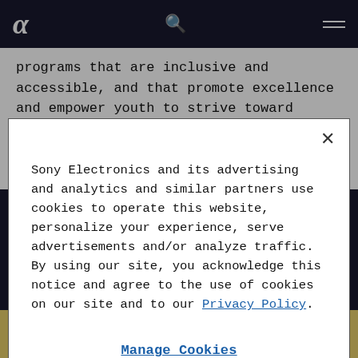α [Sony Alpha logo] | Search icon | Menu icon
programs that are inclusive and accessible, and that promote excellence and empower youth to strive toward their highest potential, New Era Creative Space is on a mission to nurture the next generation of
Sony Electronics and its advertising and analytics and similar partners use cookies to operate this website, personalize your experience, serve advertisements and/or analyze traffic. By using our site, you acknowledge this notice and agree to the use of cookies on our site and to our Privacy Policy.
Manage Cookies